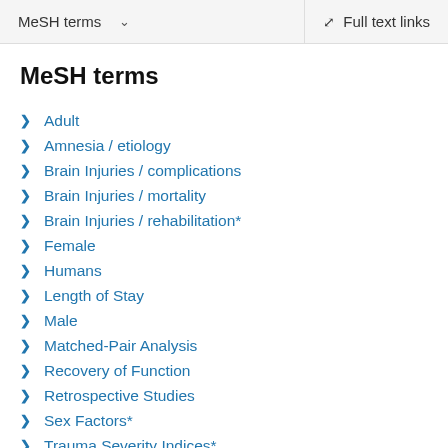MeSH terms   ∨   Full text links
MeSH terms
Adult
Amnesia / etiology
Brain Injuries / complications
Brain Injuries / mortality
Brain Injuries / rehabilitation*
Female
Humans
Length of Stay
Male
Matched-Pair Analysis
Recovery of Function
Retrospective Studies
Sex Factors*
Trauma Severity Indices*
Treatment Outcome